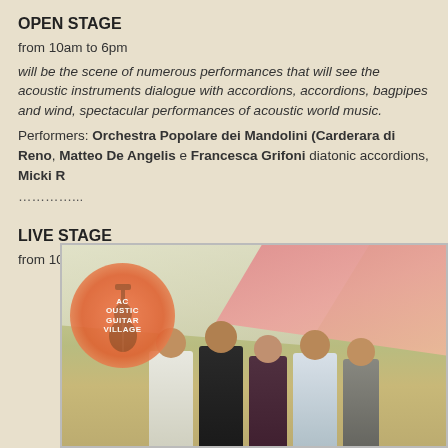OPEN STAGE
from 10am to 6pm
will be the scene of numerous performances that will see the acoustic instruments dialogue with accordions, accordions, bagpipes and wind, spectacular performances of acoustic world music.
Performers: Orchestra Popolare dei Mandolini (Carderara di Reno), Matteo De Angelis e Francesca Grifoni diatonic accordions, Micki R...
…………..
LIVE STAGE
from 10am to 6pm
[Figure (photo): Group photo of musicians standing together under a tent/awning outdoors, with an Acoustic Guitar Village logo visible on the left side of the image.]